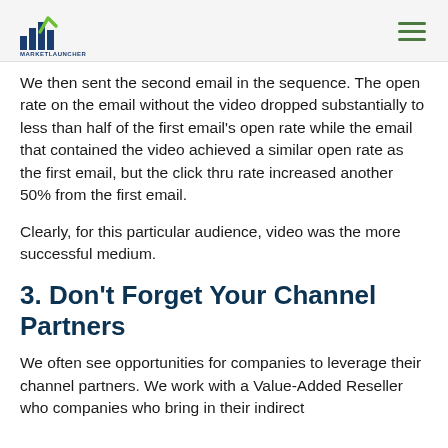Market Launcher
We then sent the second email in the sequence. The open rate on the email without the video dropped substantially to less than half of the first email's open rate while the email that contained the video achieved a similar open rate as the first email, but the click thru rate increased another 50% from the first email.
Clearly, for this particular audience, video was the more successful medium.
3. Don't Forget Your Channel Partners
We often see opportunities for companies to leverage their channel partners. We work with a Value-Added Reseller who companies who bring in their indirect...